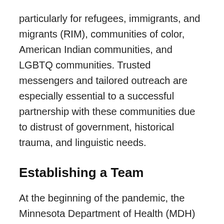particularly for refugees, immigrants, and migrants (RIM), communities of color, American Indian communities, and LGBTQ communities. Trusted messengers and tailored outreach are especially essential to a successful partnership with these communities due to distrust of government, historical trauma, and linguistic needs.
Establishing a Team
At the beginning of the pandemic, the Minnesota Department of Health (MDH) brought together staff from across the agency to serve as Community Liaisons. These employees are MDH staff who also personally identify with communities most impacted by inequities. The Community Liaison teams consist of members of African American communities, African